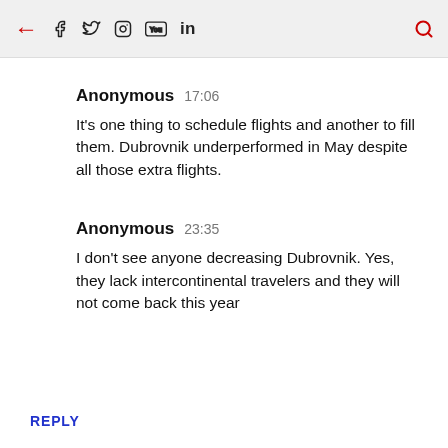← f 𝕏 Instagram YouTube in 🔍
Anonymous  17:06
It's one thing to schedule flights and another to fill them. Dubrovnik underperformed in May despite all those extra flights.
Anonymous  23:35
I don't see anyone decreasing Dubrovnik. Yes, they lack intercontinental travelers and they will not come back this year
REPLY